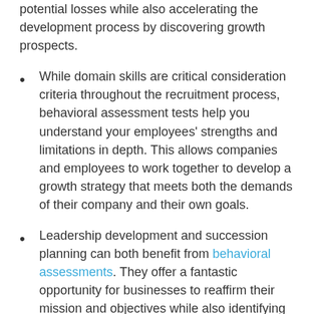potential losses while also accelerating the development process by discovering growth prospects.
While domain skills are critical consideration criteria throughout the recruitment process, behavioral assessment tests help you understand your employees' strengths and limitations in depth. This allows companies and employees to work together to develop a growth strategy that meets both the demands of their company and their own goals.
Leadership development and succession planning can both benefit from behavioral assessments. They offer a fantastic opportunity for businesses to reaffirm their mission and objectives while also identifying individuals who share them. The cornerstone for your behavioral assessment tests for employee development is the organization's shared culture and goal. In addition, behavioral evaluations can be used to analyze your organization's critical